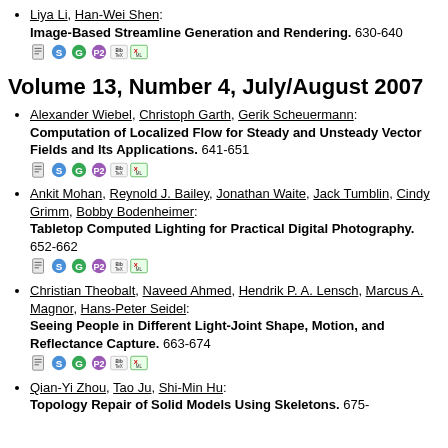Liya Li, Han-Wei Shen: Image-Based Streamline Generation and Rendering. 630-640
Volume 13, Number 4, July/August 2007
Alexander Wiebel, Christoph Garth, Gerik Scheuermann: Computation of Localized Flow for Steady and Unsteady Vector Fields and Its Applications. 641-651
Ankit Mohan, Reynold J. Bailey, Jonathan Waite, Jack Tumblin, Cindy Grimm, Bobby Bodenheimer: Tabletop Computed Lighting for Practical Digital Photography. 652-662
Christian Theobalt, Naveed Ahmed, Hendrik P. A. Lensch, Marcus A. Magnor, Hans-Peter Seidel: Seeing People in Different Light-Joint Shape, Motion, and Reflectance Capture. 663-674
Qian-Yi Zhou, Tao Ju, Shi-Min Hu: Topology Repair of Solid Models Using Skeletons. 675-